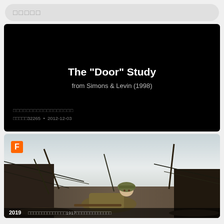□□□□□
[Figure (screenshot): Dark/black card thumbnail showing title 'The "Door" Study from Simons & Levin (1998)' with metadata line showing squares and '32265 • 2012-12-03']
[Figure (photo): Movie still showing a WWI soldier crawling through a trench with barbed wire, with an orange F badge in upper left corner and a bottom bar with year and text]